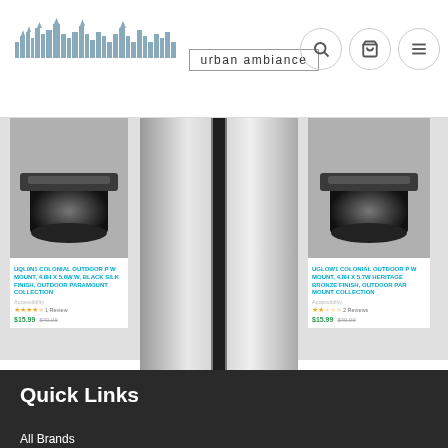Urban Ambiance - website header with logo and navigation icons
[Figure (photo): Product card left: outdoor wall mount light fixture, dark/black finish, viewed from below]
UQL0N1 COLONIAL OUTDOOR P W MOUNT, 4.8H X 5.6W.W, BLACK SILK FINISH, OUTDOOR PARAMOUNT COLLECTION
Accessibility 4.5 stars, 1 Review, $15.99 $49.99
[Figure (photo): Product card center: large outdoor post mount light fixture image, black/silver vertical post lamp]
UQL1BC COLONIAL OUTDOOR POST, 64H X 3W, BLACK SILK FINISH, OUTDOOR POST MOUNT COLLECTION
Accessibility 5 stars, 1 Review, $180.99 $499.99
[Figure (photo): Product card right: outdoor wall mount light fixture, dark/black finish, similar to left]
UGLOW1 COLONIAL OUTDOOR P W MOUNT, 4.8H X 5.7W HERITAGE BRONZE FINISH, OUTDOOR PAR MOUNT COLLECTION
Accessibility 2 stars, 2 Reviews, $15.99 $49.99
Quick Links